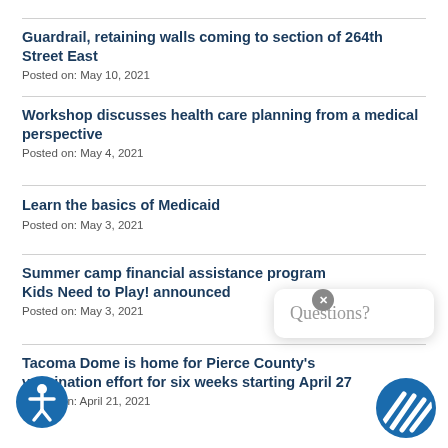Guardrail, retaining walls coming to section of 264th Street East
Posted on: May 10, 2021
Workshop discusses health care planning from a medical perspective
Posted on: May 4, 2021
Learn the basics of Medicaid
Posted on: May 3, 2021
Summer camp financial assistance program Kids Need to Play! announced
Posted on: May 3, 2021
Tacoma Dome is home for Pierce County's vaccination effort for six weeks starting April 27
Posted on: April 21, 2021